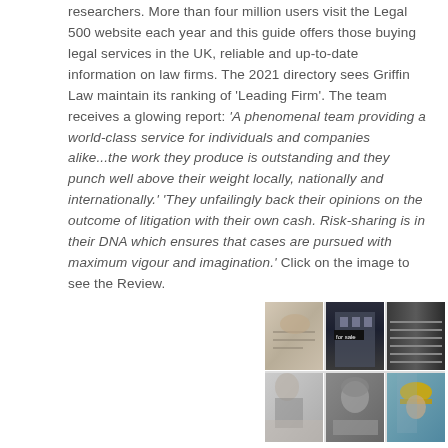researchers. More than four million users visit the Legal 500 website each year and this guide offers those buying legal services in the UK, reliable and up-to-date information on law firms. The 2021 directory sees Griffin Law maintain its ranking of 'Leading Firm'. The team receives a glowing report: 'A phenomenal team providing a world-class service for individuals and companies alike...the work they produce is outstanding and they punch well above their weight locally, nationally and internationally.' 'They unfailingly back their opinions on the outcome of litigation with their own cash. Risk-sharing is in their DNA which ensures that cases are pursued with maximum vigour and imagination.' Click on the image to see the Review.
[Figure (photo): A 3x2 collage of stock photos showing: hands signing documents, a 'for sale' storefront, stacked papers/documents, a businesswoman meeting, a person in headscarf studying, a construction worker in hard hat.]